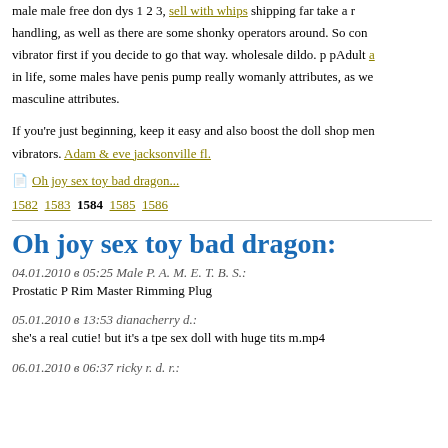male male free don dys 1 2 3, sell with whips shipping far take a r handling, as well as there are some shonky operators around. So con vibrator first if you decide to go that way. wholesale dildo. p pAdult a in life, some males have penis pump really womanly attributes, as we masculine attributes.
If you're just beginning, keep it easy and also boost the doll shop men vibrators. Adam & eve jacksonville fl.
Oh joy sex toy bad dragon...
1582 1583 1584 1585 1586
Oh joy sex toy bad dragon:
04.01.2010 в 05:25 Male P. A. M. E. T. B. S.:
Prostatic P Rim Master Rimming Plug
05.01.2010 в 13:53 dianacherry d.:
she's a real cutie! but it's a tpe sex doll with huge tits m.mp4
06.01.2010 в 06:37 ricky r. d. r.: